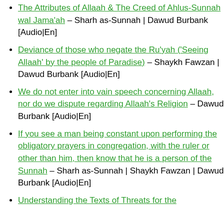The Attributes of Allaah & The Creed of Ahlus-Sunnah wal Jama'ah – Sharh as-Sunnah | Dawud Burbank [Audio|En]
Deviance of those who negate the Ru'yah ('Seeing Allaah' by the people of Paradise) – Shaykh Fawzan | Dawud Burbank [Audio|En]
We do not enter into vain speech concerning Allaah, nor do we dispute regarding Allaah's Religion – Dawud Burbank [Audio|En]
If you see a man being constant upon performing the obligatory prayers in congregation, with the ruler or other than him, then know that he is a person of the Sunnah – Sharh as-Sunnah | Shaykh Fawzan | Dawud Burbank [Audio|En]
Understanding the Texts of Threats for the...